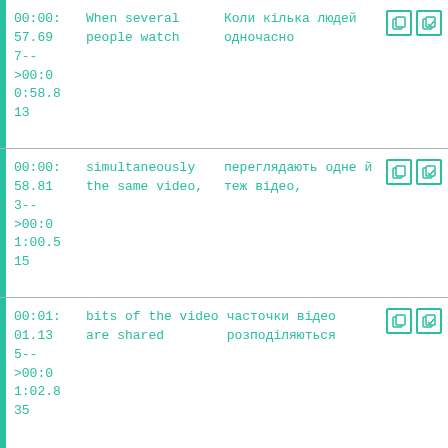| Timecode | English | Translation | Actions |
| --- | --- | --- | --- |
| 00:00:57.697--
>00:00:58.813 | When several
people watch | Коли кілька людей
одночасно | copy/save |
| 00:00:58.813--
>00:01:00.515 | simultaneously
the same video, | переглядають одне й
теж відео, | copy/save |
| 00:01:01.135--
>00:01:02.835 | bits of the video
are shared | часточки відео
розподіляються | copy/save |